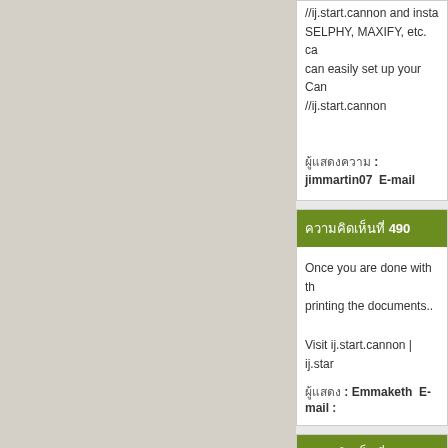//ij.start.cannon and install SELPHY, MAXIFY, etc. can easily set up your Canon //ij.start.cannon
ผู้แสดงความ : jimmartin07   E-mail :
ความคิดเห็นที่ 490
Once you are done with the printing the documents..
Visit ij.start.cannon | ij.star
ผู้แสดง : Emmaketh   E-mail :
ความคิดเห็นที่ 491
All-in-one Canon Inkjet pr your Canon printer through components